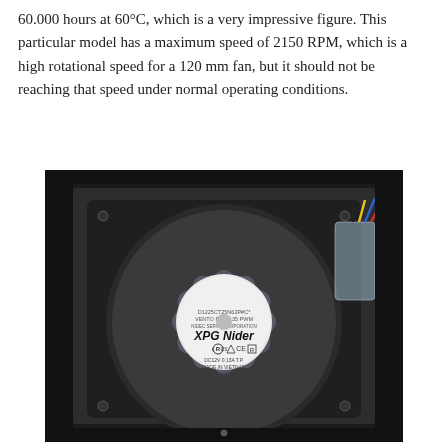60.000 hours at 60°C, which is a very impressive figure. This particular model has a maximum speed of 2150 RPM, which is a high rotational speed for a 120 mm fan, but it should not be reaching that speed under normal operating conditions.
[Figure (photo): Top-down photograph of an XPG Nidec 120mm PWM fan mounted in a black metal bracket/housing. The fan has grey blades, a white circular label in the center reading 'XPG Nidec' with model and certification markings, and a transparent plastic cable guide on the right side holding colorful wires (black, yellow, blue, red).]